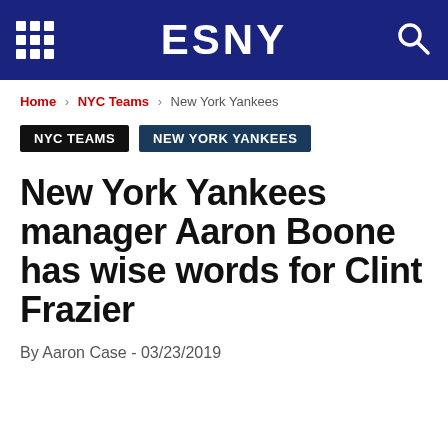ESNY
Home › NYC Teams › New York Yankees
NYC TEAMS   NEW YORK YANKEES
New York Yankees manager Aaron Boone has wise words for Clint Frazier
By Aaron Case - 03/23/2019